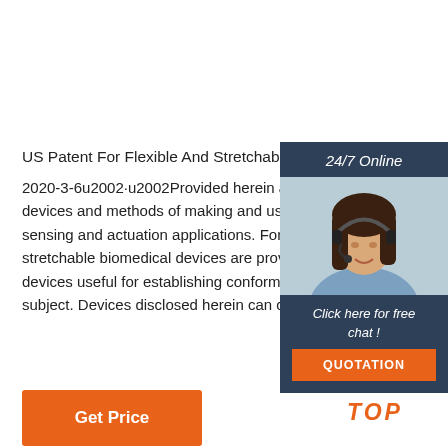US Patent For Flexible And Stretchable Electronic S...
2020-3-6u2002·u2002Provided herein are skin-mounted devices and methods of making and using biomedical sensing and actuation applications. For example, flexible stretchable biomedical devices are provided, including devices useful for establishing conformal contact with a subject. Devices disclosed herein can comprise a p...
[Figure (photo): Advertisement panel showing a woman with headset, dark blue background. Header: 24/7 Online. Call to action: Click here for free chat! Button: QUOTATION]
Get Price
[Figure (logo): TOP logo in orange with decorative dots above the letters]